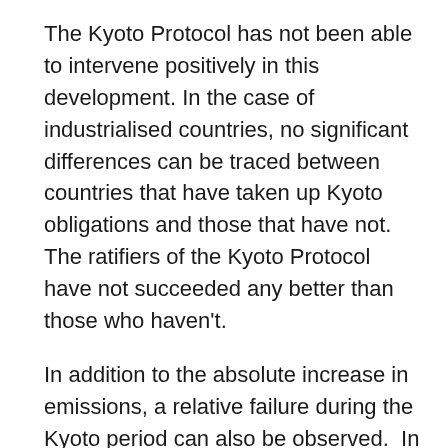The Kyoto Protocol has not been able to intervene positively in this development. In the case of industrialised countries, no significant differences can be traced between countries that have taken up Kyoto obligations and those that have not. The ratifiers of the Kyoto Protocol have not succeeded any better than those who haven't.
In addition to the absolute increase in emissions, a relative failure during the Kyoto period can also be observed.  In this context, we can speak of carbon intensity, which is the proportion of emissions to GDP (the amount of CO2 produced per GDP unit). During recent years, the economy's natural decarbonisation trend has slowed down and energy intensity actually increased. Production has become dirtier, and emissions per production tonne are increasing largely because of